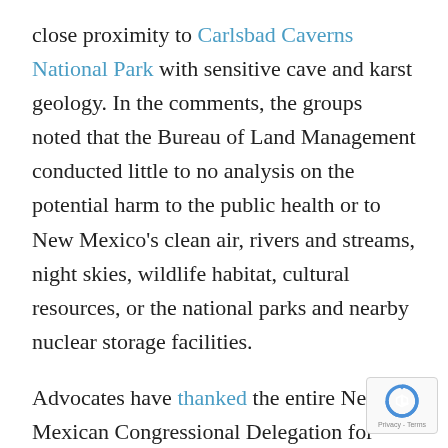close proximity to Carlsbad Caverns National Park with sensitive cave and karst geology. In the comments, the groups noted that the Bureau of Land Management conducted little to no analysis on the potential harm to the public health or to New Mexico's clean air, rivers and streams, night skies, wildlife habitat, cultural resources, or the national parks and nearby nuclear storage facilities.
Advocates have thanked the entire New Mexican Congressional Delegation for their efforts to further protection of New Mexico's public health and cultural heritage within the Greater Chaco Landscape, especially applauding Senator Tom Udall and Congressman Ben Ray Lujan's recent efforts to further Chaco protection in a bi-partisan FY2020 Appropriations bill, which restricts